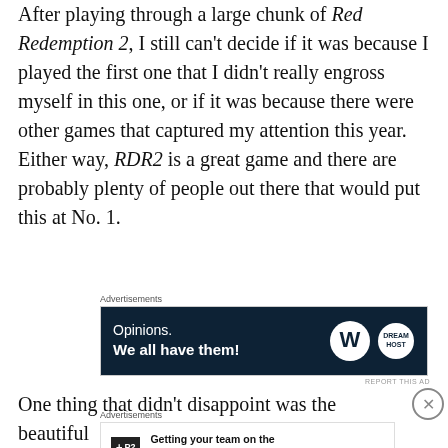After playing through a large chunk of Red Redemption 2, I still can't decide if it was because I played the first one that I didn't really engross myself in this one, or if it was because there were other games that captured my attention this year. Either way, RDR2 is a great game and there are probably plenty of people out there that would put this at No. 1.
[Figure (screenshot): Advertisement banner with dark navy background showing 'Opinions. We all have them!' with WordPress and DreamHost logos]
One thing that didn't disappoint was the beautiful
[Figure (screenshot): Advertisement banner for P2 by WordPress: 'Getting your team on the same page is easy. And free.']